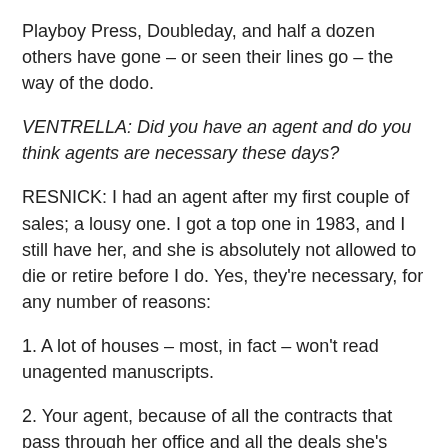Playboy Press, Doubleday, and half a dozen others have gone – or seen their lines go – the way of the dodo.
VENTRELLA: Did you have an agent and do you think agents are necessary these days?
RESNICK: I had an agent after my first couple of sales; a lousy one. I got a top one in 1983, and I still have her, and she is absolutely not allowed to die or retire before I do. Yes, they're necessary, for any number of reasons:
1. A lot of houses – most, in fact – won't read unagented manuscripts.
2. Your agent, because of all the contracts that pass through her office and all the deals she's negotiated, has a far better idea of what will be a contract-killer that you do, and will know what Publisher A will accept that Publisher B